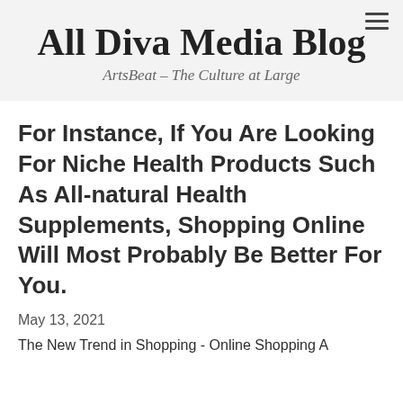All Diva Media Blog
ArtsBeat – The Culture at Large
For Instance, If You Are Looking For Niche Health Products Such As All-natural Health Supplements, Shopping Online Will Most Probably Be Better For You.
May 13, 2021
The New Trend in Shopping - Online Shopping A